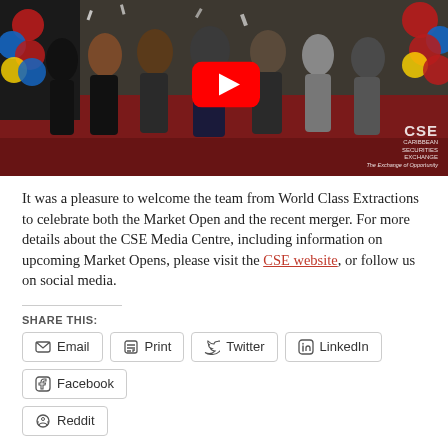[Figure (photo): A group of people standing on a red carpet in front of balloons, with a YouTube play button overlay in the center. CSE (Caribbean Securities Exchange) watermark visible in the bottom right.]
It was a pleasure to welcome the team from World Class Extractions to celebrate both the Market Open and the recent merger. For more details about the CSE Media Centre, including information on upcoming Market Opens, please visit the CSE website, or follow us on social media.
SHARE THIS:
Email
Print
Twitter
LinkedIn
Facebook
Reddit